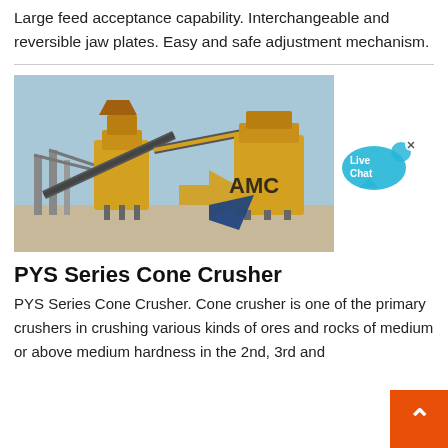Large feed acceptance capability. Interchangeable and reversible jaw plates. Easy and safe adjustment mechanism.
[Figure (photo): Industrial mining/crushing plant machinery (cone crusher setup) outdoors with yellow equipment and conveyor belts. AMC logo overlay on image.]
PYS Series Cone Crusher
PYS Series Cone Crusher. Cone crusher is one of the primary crushers in crushing various kinds of ores and rocks of medium or above medium hardness in the 2nd, 3rd and